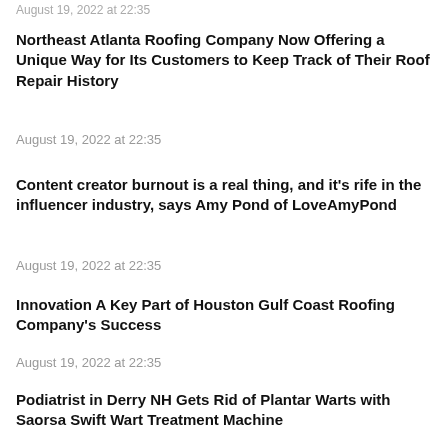Northeast Atlanta Roofing Company Now Offering a Unique Way for Its Customers to Keep Track of Their Roof Repair History
August 19, 2022 at 22:35
Content creator burnout is a real thing, and it's rife in the influencer industry, says Amy Pond of LoveAmyPond
August 19, 2022 at 22:35
Innovation A Key Part of Houston Gulf Coast Roofing Company's Success
August 19, 2022 at 22:35
Podiatrist in Derry NH Gets Rid of Plantar Warts with Saorsa Swift Wart Treatment Machine